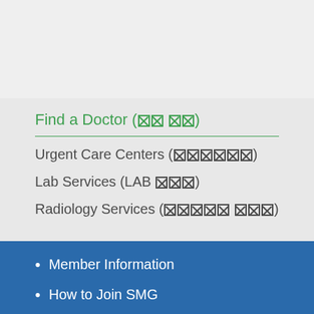Find a Doctor (XX XX)
Urgent Care Centers (XXXXXX)
Lab Services (LAB XXX)
Radiology Services (XXXXX XXX)
Member Information
How to Join SMG
Individuals Over 65 Years
When to Use an Urgent Care